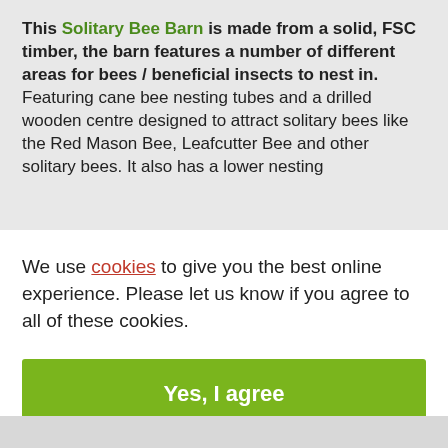This Solitary Bee Barn is made from a solid, FSC timber, the barn features a number of different areas for bees / beneficial insects to nest in. Featuring cane bee nesting tubes and a drilled wooden centre designed to attract solitary bees like the Red Mason Bee, Leafcutter Bee and other solitary bees. It also has a lower nesting
We use cookies to give you the best online experience. Please let us know if you agree to all of these cookies.
Yes, I agree
View settings